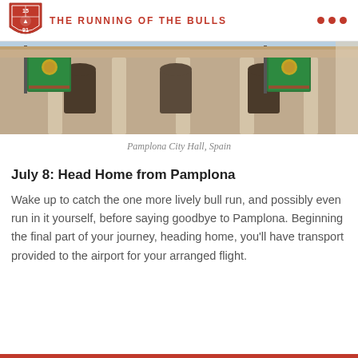THE RUNNING OF THE BULLS
[Figure (photo): Photo of Pamplona City Hall, Spain, showing ornate stone facade with green banners/flags hanging from the building.]
Pamplona City Hall, Spain
July 8: Head Home from Pamplona
Wake up to catch the one more lively bull run, and possibly even run in it yourself, before saying goodbye to Pamplona. Beginning the final part of your journey, heading home, you'll have transport provided to the airport for your arranged flight.